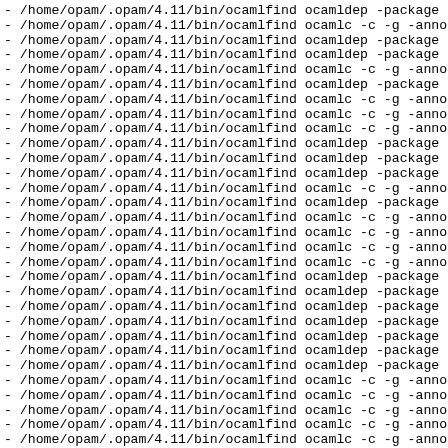- /home/opam/.opam/4.11/bin/ocamlfind ocamldep -package ...
- /home/opam/.opam/4.11/bin/ocamlfind ocamlc -c -g -annot...
- /home/opam/.opam/4.11/bin/ocamlfind ocamldep -package p...
- /home/opam/.opam/4.11/bin/ocamlfind ocamldep -package p...
- /home/opam/.opam/4.11/bin/ocamlfind ocamlc -c -g -annot...
- /home/opam/.opam/4.11/bin/ocamlfind ocamldep -package p...
- /home/opam/.opam/4.11/bin/ocamlfind ocamlc -c -g -annot...
- /home/opam/.opam/4.11/bin/ocamlfind ocamlc -c -g -annot...
- /home/opam/.opam/4.11/bin/ocamlfind ocamlc -c -g -annot...
- /home/opam/.opam/4.11/bin/ocamlfind ocamldep -package p...
- /home/opam/.opam/4.11/bin/ocamlfind ocamldep -package p...
- /home/opam/.opam/4.11/bin/ocamlfind ocamldep -package p...
- /home/opam/.opam/4.11/bin/ocamlfind ocamlc -c -g -annot...
- /home/opam/.opam/4.11/bin/ocamlfind ocamldep -package p...
- /home/opam/.opam/4.11/bin/ocamlfind ocamlc -c -g -annot...
- /home/opam/.opam/4.11/bin/ocamlfind ocamlc -c -g -annot...
- /home/opam/.opam/4.11/bin/ocamlfind ocamlc -c -g -annot...
- /home/opam/.opam/4.11/bin/ocamlfind ocamlc -c -g -annot...
- /home/opam/.opam/4.11/bin/ocamlfind ocamldep -package p...
- /home/opam/.opam/4.11/bin/ocamlfind ocamldep -package p...
- /home/opam/.opam/4.11/bin/ocamlfind ocamldep -package p...
- /home/opam/.opam/4.11/bin/ocamlfind ocamldep -package p...
- /home/opam/.opam/4.11/bin/ocamlfind ocamldep -package p...
- /home/opam/.opam/4.11/bin/ocamlfind ocamldep -package p...
- /home/opam/.opam/4.11/bin/ocamlfind ocamldep -package p...
- /home/opam/.opam/4.11/bin/ocamlfind ocamlc -c -g -annot...
- /home/opam/.opam/4.11/bin/ocamlfind ocamlc -c -g -annot...
- /home/opam/.opam/4.11/bin/ocamlfind ocamlc -c -g -annot...
- /home/opam/.opam/4.11/bin/ocamlfind ocamlc -c -g -annot...
- /home/opam/.opam/4.11/bin/ocamlfind ocamlc -c -g -annot...